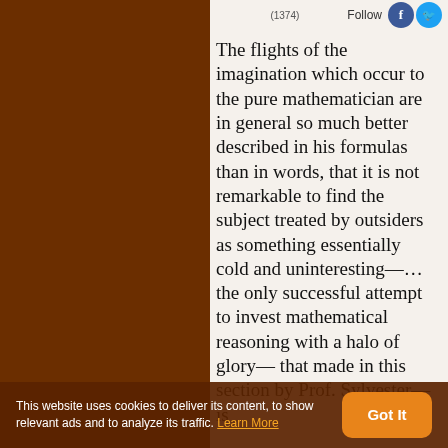(1374) Follow
The flights of the imagination which occur to the pure mathematician are in general so much better described in his formulas than in words, that it is not remarkable to find the subject treated by outsiders as something essentially cold and uninteresting—… the only successful attempt to invest mathematical reasoning with a halo of glory— that made in this section by Prof. Sylvester—is
This website uses cookies to deliver its content, to show relevant ads and to analyze its traffic. Learn More